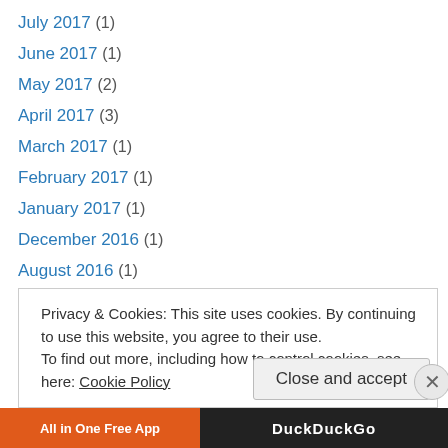July 2017 (1)
June 2017 (1)
May 2017 (2)
April 2017 (3)
March 2017 (1)
February 2017 (1)
January 2017 (1)
December 2016 (1)
August 2016 (1)
July 2016 (1)
June 2016 (1)
May 2016 (3)
April 2016 (2)
Privacy & Cookies: This site uses cookies. By continuing to use this website, you agree to their use. To find out more, including how to control cookies, see here: Cookie Policy
Close and accept